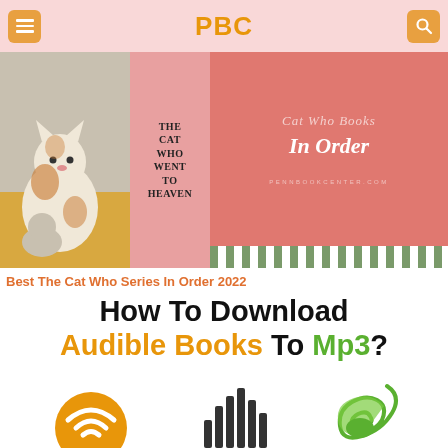PBC
[Figure (illustration): Banner image showing 'The Cat Who Went To Heaven' book cover on left with a cat illustration, and a salmon/coral pink graphic on right reading 'Cat Who Books In Order' with pennbookcenter.com watermark and decorative stripes]
Best The Cat Who Series In Order 2022
How To Download Audible Books To Mp3?
[Figure (illustration): Three icons at bottom: Audible logo (orange circle with headphone signal), audio waveform bars icon, and a green music note leaf icon]